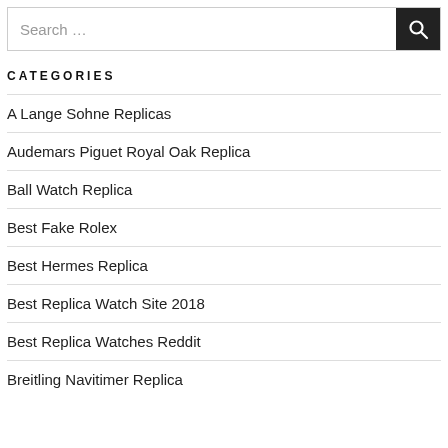Search …
CATEGORIES
A Lange Sohne Replicas
Audemars Piguet Royal Oak Replica
Ball Watch Replica
Best Fake Rolex
Best Hermes Replica
Best Replica Watch Site 2018
Best Replica Watches Reddit
Breitling Navitimer Replica